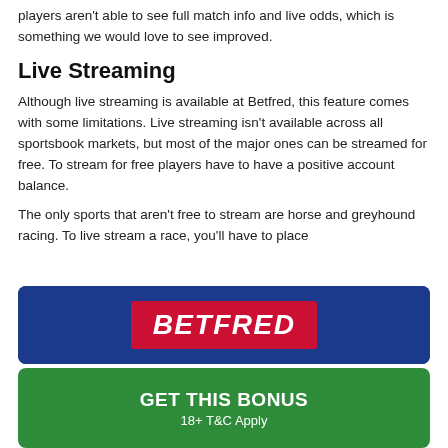players aren't able to see full match info and live odds, which is something we would love to see improved.
Live Streaming
Although live streaming is available at Betfred, this feature comes with some limitations. Live streaming isn't available across all sportsbook markets, but most of the major ones can be streamed for free. To stream for free players have to have a positive account balance.
The only sports that aren't free to stream are horse and greyhound racing. To live stream a race, you'll have to place
[Figure (logo): Betfred logo on dark blue background banner]
GET THIS BONUS
18+ T&C Apply